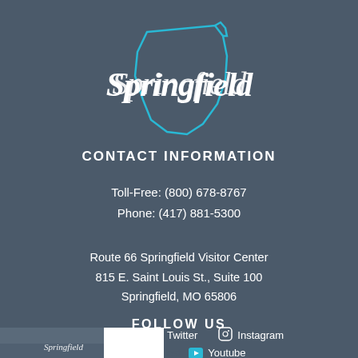[Figure (logo): Springfield Missouri logo with cursive 'Springfield' text and Missouri state outline in teal/cyan]
CONTACT INFORMATION
Toll-Free: (800) 678-8767
Phone: (417) 881-5300
Route 66 Springfield Visitor Center
815 E. Saint Louis St., Suite 100
Springfield, MO 65806
FOLLOW US
Twitter    Instagram
Youtube